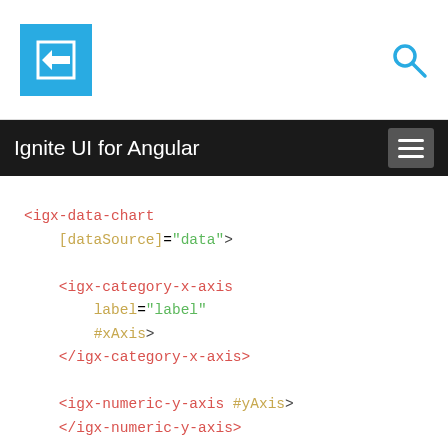Ignite UI for Angular
<igx-data-chart [dataSource]="data"> <igx-category-x-axis label="label" #xAxis> </igx-category-x-axis> <igx-numeric-y-axis #yAxis> </igx-numeric-y-axis> <igx-column-series #series [xAxis]="xAxis"